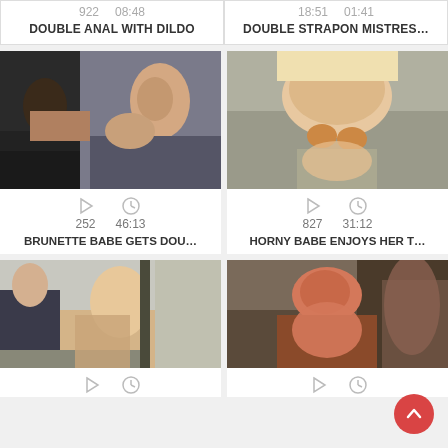922  08:48
18:51  01:41
DOUBLE ANAL WITH DILDO
DOUBLE STRAPON MISTRES...
[Figure (photo): Adult video thumbnail showing three people]
252  46:13
BRUNETTE BABE GETS DOU...
[Figure (photo): Adult video thumbnail showing blonde woman]
827  31:12
HORNY BABE ENJOYS HER T...
[Figure (photo): Adult video thumbnail showing people on sofa]
[Figure (photo): Adult video thumbnail showing redhead woman]